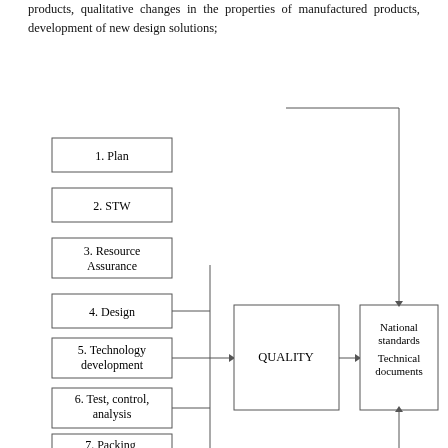products, qualitative changes in the properties of manufactured products, development of new design solutions;
[Figure (flowchart): Flowchart showing quality management process. Left column lists 8 process boxes: 1. Plan, 2. STW, 3. Resource Assurance, 4. Design, 5. Technology development, 6. Test control analysis, 7. Packing Storage, 8. Realization (and more below). Arrows from boxes 4-8 feed into central QUALITY box. Arrow from QUALITY points right to a box containing National standards and Technical documents. A top arrow loops from somewhere back down to the National standards/Technical documents box. An upward arrow comes from below into the National standards box.]